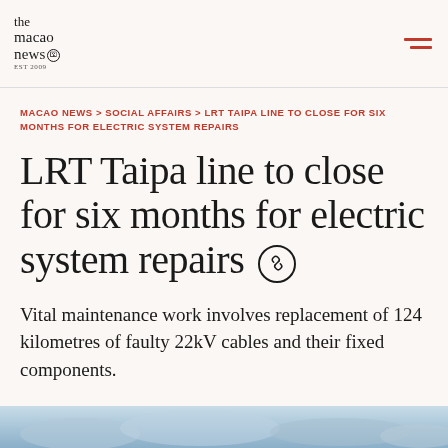the macao news EST 2009
MACAO NEWS > SOCIAL AFFAIRS > LRT TAIPA LINE TO CLOSE FOR SIX MONTHS FOR ELECTRIC SYSTEM REPAIRS
LRT Taipa line to close for six months for electric system repairs
Vital maintenance work involves replacement of 124 kilometres of faulty 22kV cables and their fixed components.